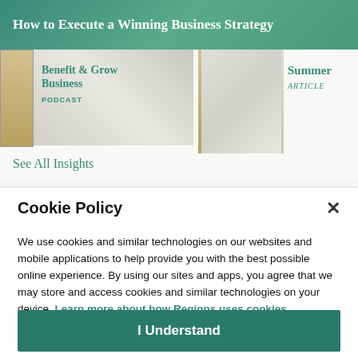How to Execute a Winning Business Strategy
[Figure (screenshot): Partial view of two content cards: a podcast card titled 'Benefit & Grow Business' with type label 'PODCAST', and a partial article card with heading 'Summer' and type label 'ARTICLE', shown against a light background with book spine graphics]
See All Insights
Cookie Policy
We use cookies and similar technologies on our websites and mobile applications to help provide you with the best possible online experience. By using our sites and apps, you agree that we may store and access cookies and similar technologies on your device. Learn more about how Regions uses cookies.
I Understand